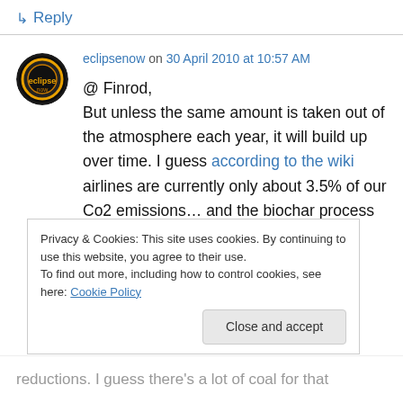↳ Reply
eclipsenow on 30 April 2010 at 10:57 AM
@ Finrod,
But unless the same amount is taken out of the atmosphere each year, it will build up over time. I guess according to the wiki airlines are currently only about 3.5% of our Co2 emissions… and the biochar process I'm talking about is meant to negate a 'wedge' of about a 7th of our emissions
Privacy & Cookies: This site uses cookies. By continuing to use this website, you agree to their use.
To find out more, including how to control cookies, see here: Cookie Policy
reductions. I guess there's a lot of coal for that